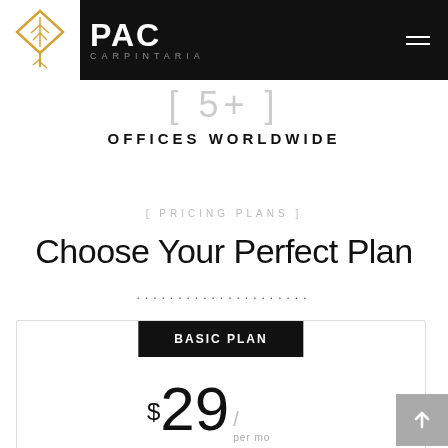PAC CARPINTARIA
[ 5+ ]
OFFICES WORLDWIDE
[ PRICING PLANS ]
Choose Your Perfect Plan
.....................
BASIC PLAN
$29 / per mo